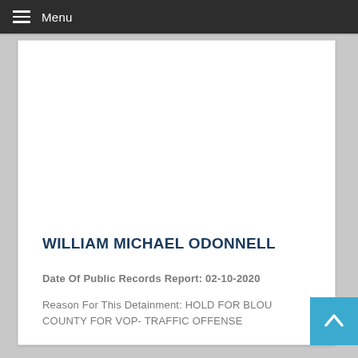Menu
WILLIAM MICHAEL ODONNELL
Date Of Public Records Report: 02-10-2020
Reason For This Detainment: HOLD FOR BLOUNT COUNTY FOR VOP- TRAFFIC OFFENSE